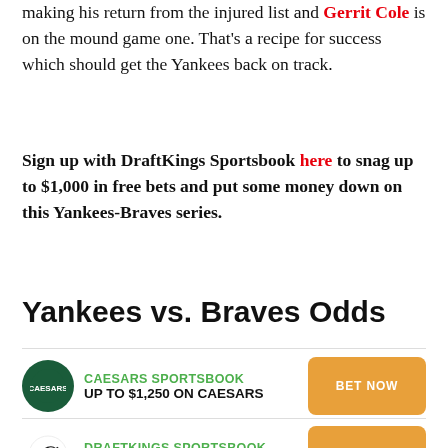making his return from the injured list and Gerrit Cole is on the mound game one. That's a recipe for success which should get the Yankees back on track.
Sign up with DraftKings Sportsbook here to snag up to $1,000 in free bets and put some money down on this Yankees-Braves series.
Yankees vs. Braves Odds
CAESARS SPORTSBOOK
UP TO $1,250 ON CAESARS
BET NOW
DRAFTKINGS SPORTSBOOK
FREE $1,050 BONUS
BET NOW